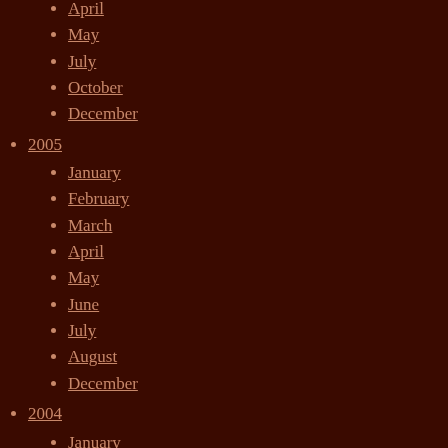April
May
July
October
December
2005
January
February
March
April
May
June
July
August
December
2004
January
February
March
April
May